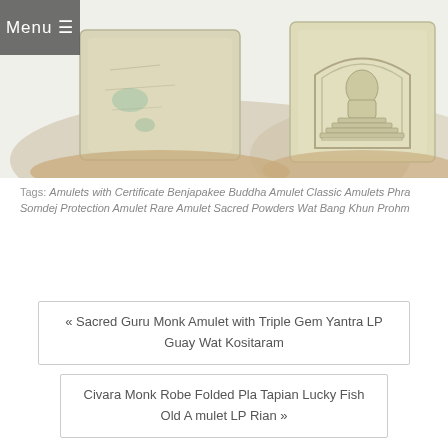[Figure (photo): Two views of a pale cream/beige Buddhist amulet (Phra Somdej style) held in a hand against a white background. Left shows the back face, right shows the front face with Buddha image in relief.]
Tags: Amulets with Certificate Benjapakee Buddha Amulet Classic Amulets Phra Somdej Protection Amulet Rare Amulet Sacred Powders Wat Bang Khun Prohm
« Sacred Guru Monk Amulet with Triple Gem Yantra LP Guay Wat Kositaram
Civara Monk Robe Folded Pla Tapian Lucky Fish Old Amulet LP Rian »